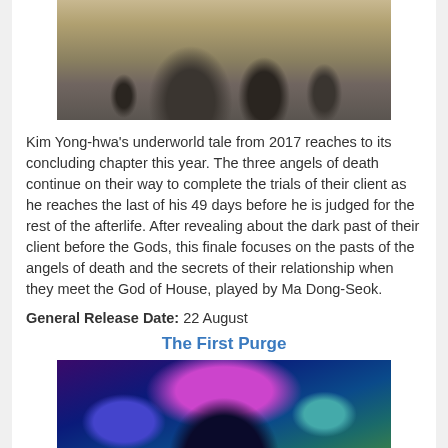[Figure (photo): Scene from a Korean underworld film showing several figures in dark cloaks walking in a barren landscape]
Kim Yong-hwa's underworld tale from 2017 reaches to its concluding chapter this year. The three angels of death continue on their way to complete the trials of their client as he reaches the last of his 49 days before he is judged for the rest of the afterlife. After revealing about the dark past of their client before the Gods, this finale focuses on the pasts of the angels of death and the secrets of their relationship when they meet the God of House, played by Ma Dong-Seok.
General Release Date: 22 August
The First Purge
[Figure (photo): Close-up of a dark demonic masked figure with horns and glowing red eyes, illuminated by blue and teal neon lights]